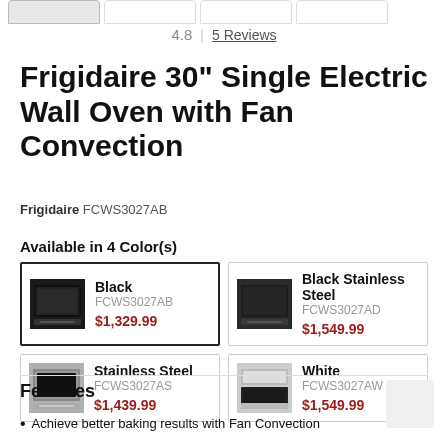4.8 | 5 Reviews
Frigidaire 30" Single Electric Wall Oven with Fan Convection
Frigidaire FCWS3027AB
Available in 4 Color(s)
| Image | Color | Model | Price |
| --- | --- | --- | --- |
| [black oven image] | Black | FCWS3027AB | $1,329.99 |
| [black stainless image] | Black Stainless Steel | FCWS3027AD | $1,549.99 |
| [stainless image] | Stainless Steel | FCWS3027AS | $1,439.99 |
| [white image] | White | FCWS3027AW | $1,549.99 |
Features
Achieve better baking results with Fan Convection